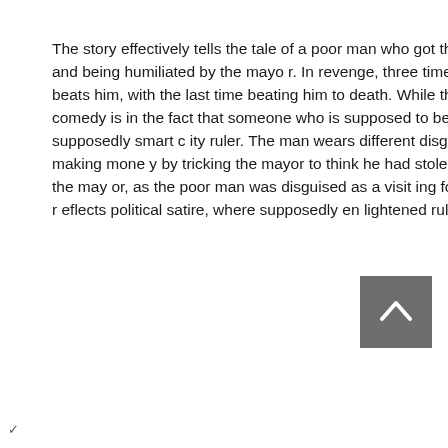The story effectively tells the tale of a poor man who got thrown out from of the mayor's office and being humiliated by the mayor. In revenge, three times the man deceives the mayor and beats him, with the last time beating him to death. While the end might not seem so funny, the comedy is in the fact that someone who is supposed to be uncouth is able to deceive the supposedly smart city ruler. The man wears different disguises to trick the mayor, once even making money by tricking the mayor to think he had stolen gold from the poor man by fining the mayor, as the poor man was disguised as a visiting foreign emissary. The story effectively reflects political satire, where supposedly enlightened rulers are not really that enlighten
[Figure (other): A grey square button with an upward-pointing chevron/caret arrow symbol in white, functioning as a scroll-to-top button.]